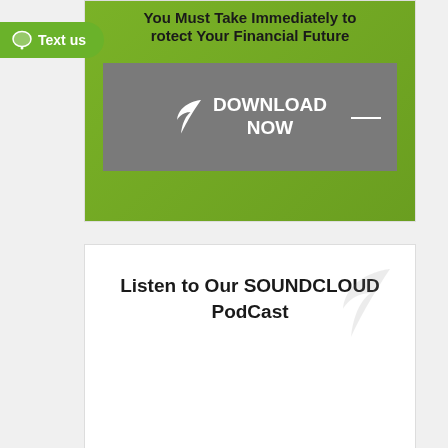[Figure (infographic): Green banner with bold text 'You Must Take Immediately to Protect Your Financial Future' and a gray Download Now button with a leaf icon]
Listen to Our SOUNDCLOUD PodCast